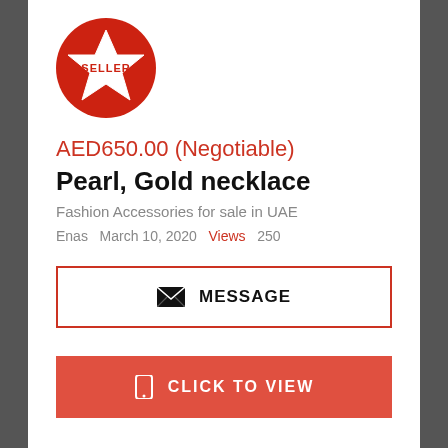[Figure (logo): Red circle with white star and text SELLER in red on the star — seller badge logo]
AED650.00 (Negotiable)
Pearl, Gold necklace
Fashion Accessories for sale in UAE
Enas   March 10, 2020   Views   250
MESSAGE
CLICK TO VIEW